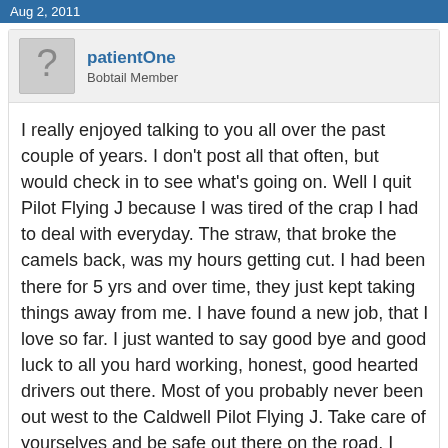Aug 2, 2011
patientOne
Bobtail Member
I really enjoyed talking to you all over the past couple of years. I don't post all that often, but would check in to see what's going on. Well I quit Pilot Flying J because I was tired of the crap I had to deal with everyday. The straw, that broke the camels back, was my hours getting cut. I had been there for 5 yrs and over time, they just kept taking things away from me. I have found a new job, that I love so far. I just wanted to say good bye and good luck to all you hard working, honest, good hearted drivers out there. Most of you probably never been out west to the Caldwell Pilot Flying J. Take care of yourselves and be safe out there on the road. I have met some wonderful people over the years. God bless you and remember Angie loves you 🙂